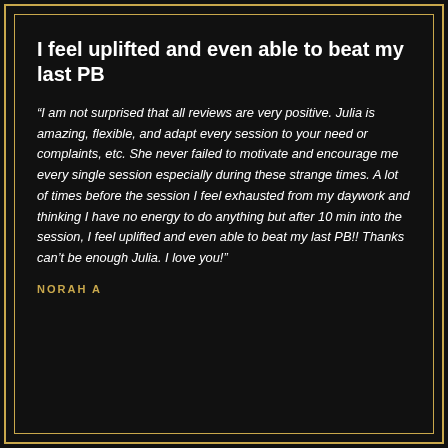I feel uplifted and even able to beat my last PB
“I am not surprised that all reviews are very positive. Julia is amazing, flexible, and adapt every session to your need or complaints, etc. She never failed to motivate and encourage me every single session especially during these strange times. A lot of times before the session I feel exhausted from my daywork and thinking I have no energy to do anything but after 10 min into the session, I feel uplifted and even able to beat my last PB!! Thanks can’t be enough Julia. I love you!”
NORAH A